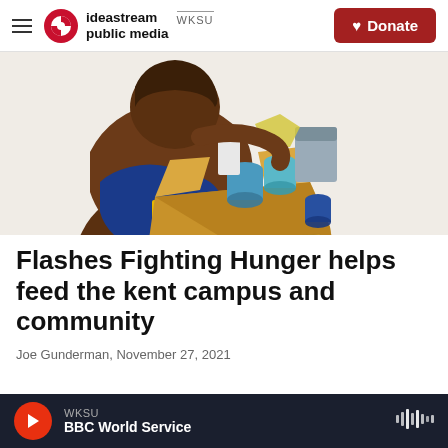ideastream public media WKSU | Donate
[Figure (illustration): Illustration of a person holding a cardboard box labeled 'Food Drive' filled with canned goods and other food items]
Flashes Fighting Hunger helps feed the kent campus and community
Joe Gunderman, November 27, 2021
WKSU | BBC World Service